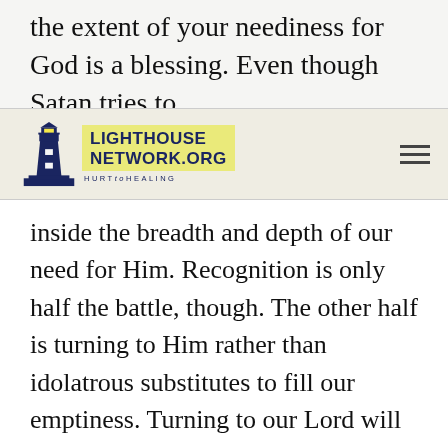the extent of your neediness for God is a blessing. Even though Satan tries to
[Figure (logo): Lighthouse Network.org Hurt to Healing logo with lighthouse illustration and hamburger menu icon]
inside the breadth and depth of our need for Him. Recognition is only half the battle, though. The other half is turning to Him rather than idolatrous substitutes to fill our emptiness. Turning to our Lord will always be the challenge...will always be the toughest part of the battle. Why? Because we are constantly influenced by the heaviness of this fallen world. We choose immediate comfort over real sustenance.